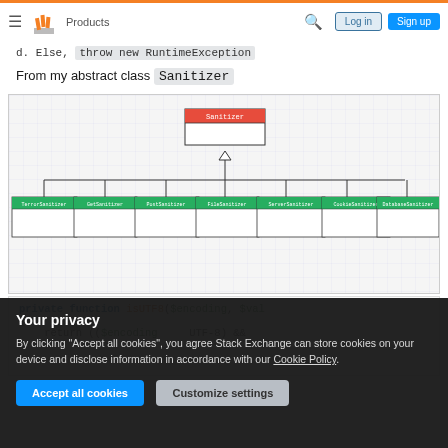Products | Log in | Sign up
d. Else, throw new RuntimeException
From my abstract class Sanitizer
[Figure (engineering-diagram): UML class diagram showing a Sanitizer abstract class (red header) with a triangle inheritance arrow pointing up from it, connected to seven child classes: TerrorSanitizer, GetSanitizer, PostSanitizer, FileSanitizer, ServerSanitizer, CookieSanitizer, DatabaseSanitizer (all with green headers)]
private function isUTF8($encoding, $val
{
    return (($encoding    UTF-8) &&
Your privacy
By clicking "Accept all cookies", you agree Stack Exchange can store cookies on your device and disclose information in accordance with our Cookie Policy.
[Accept all cookies] [Customize settings]
mb_substitute_character(0xFFFD); //
mb_detect_order($encoding);